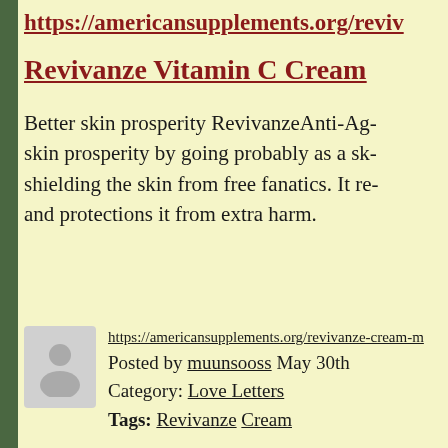https://americansupplements.org/reviv
Revivanze Vitamin C Cream
Better skin prosperity RevivanzeAnti-Ag- skin prosperity by going probably as a sk- shielding the skin from free fanatics. It re- and protections it from extra harm.
https://americansupplements.org/revivanze-cream-m- Posted by muunsooss May 30th Category: Love Letters Tags: Revivanze Cream